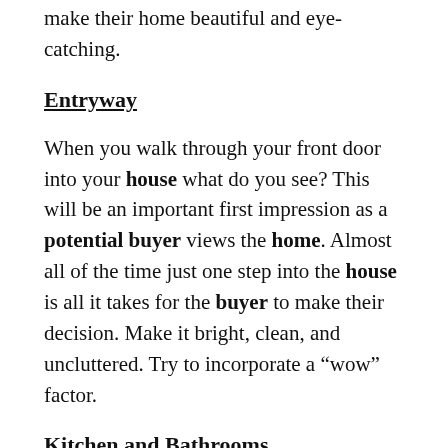make their home beautiful and eye-catching.
Entryway
When you walk through your front door into your house what do you see? This will be an important first impression as a potential buyer views the home. Almost all of the time just one step into the house is all it takes for the buyer to make their decision. Make it bright, clean, and uncluttered. Try to incorporate a “wow” factor.
Kitchen and Bathrooms
The kitchen and bathrooms are big selling points. So, make them clean and as spacious as possible. Clear off